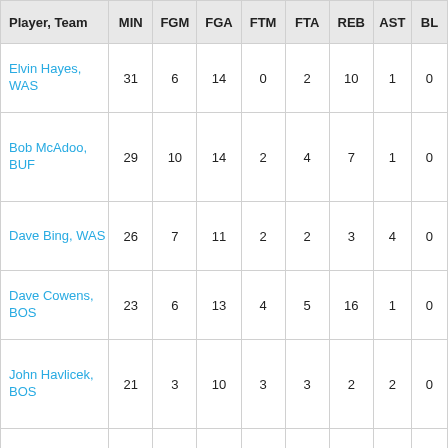| Player, Team | MIN | FGM | FGA | FTM | FTA | REB | AST | BL |
| --- | --- | --- | --- | --- | --- | --- | --- | --- |
| Elvin Hayes, WAS | 31 | 6 | 14 | 0 | 2 | 10 | 1 | 0 |
| Bob McAdoo, BUF | 29 | 10 | 14 | 2 | 4 | 7 | 1 | 0 |
| Dave Bing, WAS | 26 | 7 | 11 | 2 | 2 | 3 | 4 | 0 |
| Dave Cowens, BOS | 23 | 6 | 13 | 4 | 5 | 16 | 1 | 0 |
| John Havlicek, BOS | 21 | 3 | 10 | 3 | 3 | 2 | 2 | 0 |